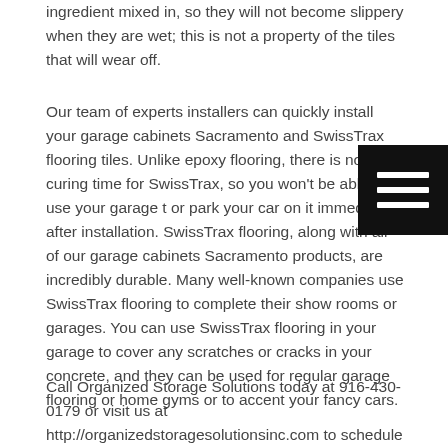ingredient mixed in, so they will not become slippery when they are wet; this is not a property of the tiles that will wear off.
Our team of experts installers can quickly install your garage cabinets Sacramento and SwissTrax flooring tiles. Unlike epoxy flooring, there is no curing time for SwissTrax, so you won't be able to use your garage t or park your car on it immediately after installation. SwissTrax flooring, along with all of our garage cabinets Sacramento products, are incredibly durable. Many well-known companies use SwissTrax flooring to complete their show rooms or garages. You can use SwissTrax flooring in your garage to cover any scratches or cracks in your concrete, and they can be used for regular garage flooring or home gyms or to accent your fancy cars.
Call Organized Storage Solutions today at 916-430-0179 or visit us at http://organizedstoragesolutionsinc.com to schedule your free consultation so you can get started on